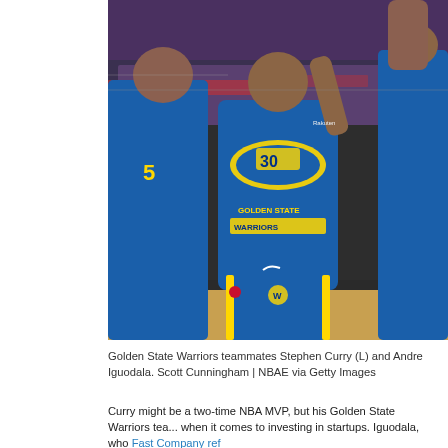[Figure (photo): Golden State Warriors players on the basketball court. Stephen Curry (#30) in the center wearing a blue and gold Golden State Warriors jersey, with teammates on either side. The arena crowd is visible in the background.]
Golden State Warriors teammates Stephen Curry (L) and Andre Iguodala. Scott Cunningham | NBAE via Getty Images
Curry might be a two-time NBA MVP, but his Golden State Warriors tea... when it comes to investing in startups. Iguodala, who Fast Company ref...